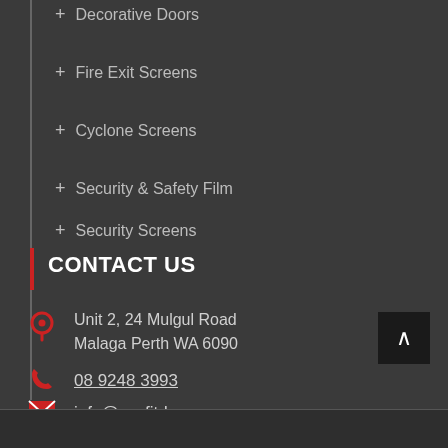+ Decorative Doors
+ Fire Exit Screens
+ Cyclone Screens
+ Security & Safety Film
+ Security Screens
CONTACT US
Unit 2, 24 Mulgul Road
Malaga Perth WA 6090
08 9248 3993
info@ezyfitdoors.com.au